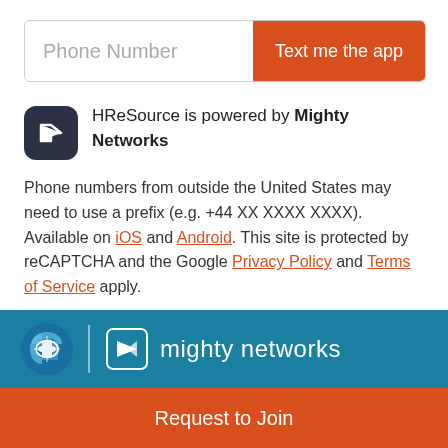[Figure (screenshot): Phone number input field with placeholder text 'Phone Number' and an orange 'Text me the app' button on the right]
HReSource is powered by Mighty Networks
Phone numbers from outside the United States may need to use a prefix (e.g. +44 XX XXXX XXXX). Available on iOS and Android. This site is protected by reCAPTCHA and the Google Privacy Policy and Terms of Service apply.
[Figure (logo): Mighty Networks logo on teal blue footer bar with HReSource puzzle piece icon]
[Figure (screenshot): Orange 'Request to Join' button at the bottom]